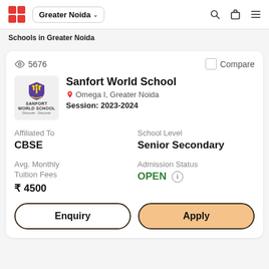Greater Noida
Schools in Greater Noida
5676
Compare
Sanfort World School
Omega I, Greater Noida
Session: 2023-2024
Affiliated To
CBSE
School Level
Senior Secondary
Avg. Monthly Tuition Fees
₹ 4500
Admission Status
OPEN
Enquiry
Apply